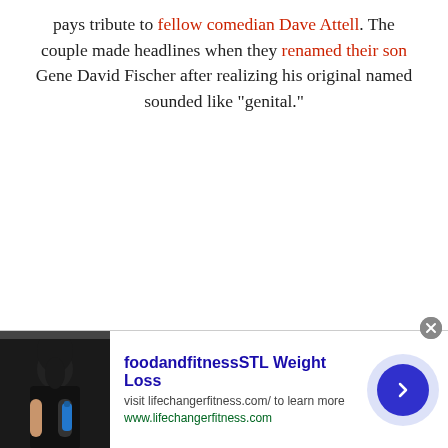pays tribute to fellow comedian Dave Attell. The couple made headlines when they renamed their son Gene David Fischer after realizing his original named sounded like "genital."
[Figure (other): Advertisement banner for foodandfitnessSTL Weight Loss featuring a person holding a water bottle, with text 'visit lifechanger fitness.com/ to learn more' and 'www.lifechangerfitness.com', and a blue arrow button.]